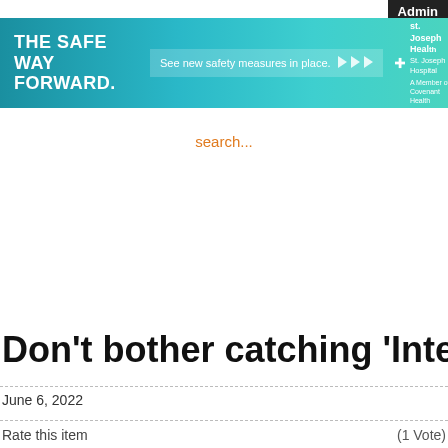Admin
[Figure (other): THE SAFE WAY FORWARD. See new safety measures in place. >>> St. Joseph Health, St. Joseph Hospital, A Member of Covenant Health]
search...
Don't bother catching 'Inte
June 6, 2022
Rate this item   (1 Vote)